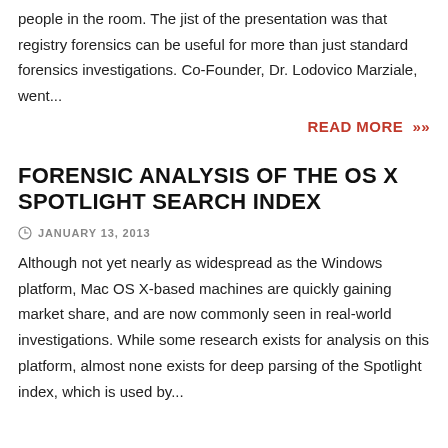people in the room. The jist of the presentation was that registry forensics can be useful for more than just standard forensics investigations. Co-Founder, Dr. Lodovico Marziale, went...
READ MORE »
FORENSIC ANALYSIS OF THE OS X SPOTLIGHT SEARCH INDEX
JANUARY 13, 2013
Although not yet nearly as widespread as the Windows platform, Mac OS X-based machines are quickly gaining market share, and are now commonly seen in real-world investigations. While some research exists for analysis on this platform, almost none exists for deep parsing of the Spotlight index, which is used by...